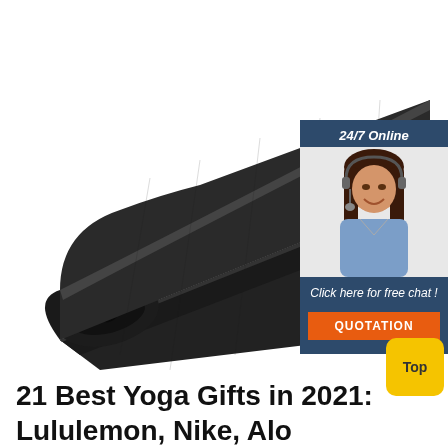[Figure (photo): A rolled black yoga mat unrolled diagonally on a white background, viewed from above and to the side, showing the texture of the mat surface.]
[Figure (infographic): A 24/7 online chat widget with a dark blue background, showing a female customer service agent with a headset, text 'Click here for free chat!' and an orange QUOTATION button.]
[Figure (other): A yellow rounded square button labeled 'Top' for scrolling to top of page.]
21 Best Yoga Gifts in 2021: Lululemon, Nike, Alo